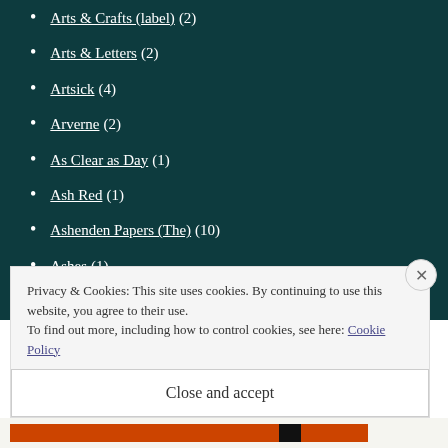Arts & Crafts (label) (2)
Arts & Letters (2)
Artsick (4)
Arverne (2)
As Clear as Day (1)
Ash Red (1)
Ashenden Papers (The) (10)
Ashes (1)
Ashtrace (1)
Asian Man Records (label) (5)
Assistant (1)
Privacy & Cookies: This site uses cookies. By continuing to use this website, you agree to their use.
To find out more, including how to control cookies, see here: Cookie Policy
Close and accept